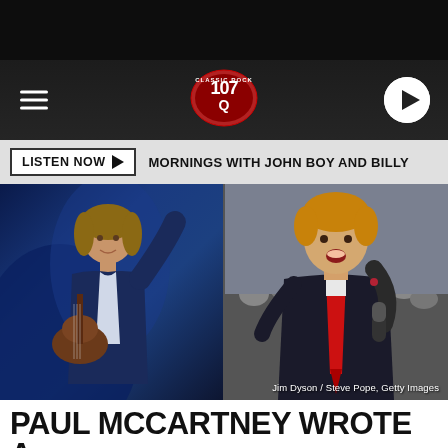[Figure (screenshot): Classic Rock 107 Q radio station website header with hamburger menu, logo, and play button on dark background]
LISTEN NOW ▶  MORNINGS WITH JOHN BOY AND BILLY
[Figure (photo): Two photos side by side: left shows Paul McCartney performing on stage with guitar in blue suit; right shows Donald Trump speaking into microphone with red tie]
Jim Dyson / Steve Pope, Getty Images
PAUL MCCARTNEY WROTE A